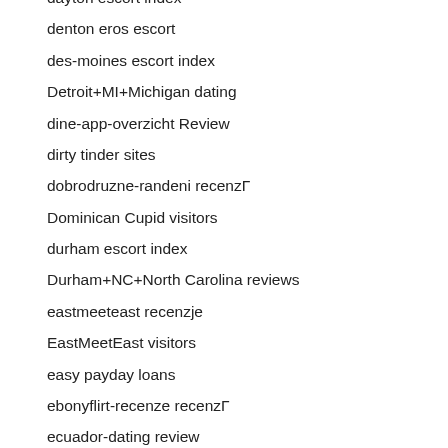dayton escort index
denton eros escort
des-moines escort index
Detroit+MI+Michigan dating
dine-app-overzicht Review
dirty tinder sites
dobrodruzne-randeni recenzГ
Dominican Cupid visitors
durham escort index
Durham+NC+North Carolina reviews
eastmeeteast recenzje
EastMeetEast visitors
easy payday loans
ebonyflirt-recenze recenzГ
ecuador-dating review